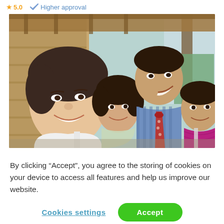5.0  Higher approval
[Figure (photo): A smiling woman taking a selfie with three young children outdoors in what appears to be a rural or village setting. The children are smiling and posing for the camera.]
By clicking “Accept”, you agree to the storing of cookies on your device to access all features and help us improve our website.
Cookies settings
Accept